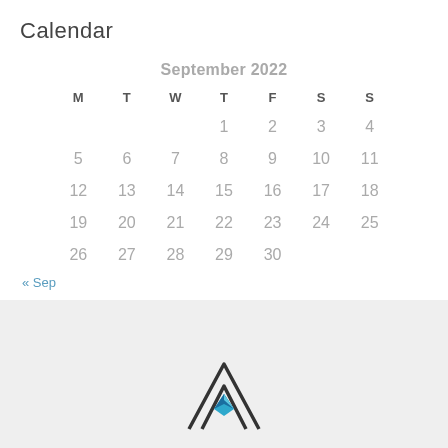Calendar
| M | T | W | T | F | S | S |
| --- | --- | --- | --- | --- | --- | --- |
|  |  |  | 1 | 2 | 3 | 4 |
| 5 | 6 | 7 | 8 | 9 | 10 | 11 |
| 12 | 13 | 14 | 15 | 16 | 17 | 18 |
| 19 | 20 | 21 | 22 | 23 | 24 | 25 |
| 26 | 27 | 28 | 29 | 30 |  |  |
« Sep
[Figure (logo): Mountain/house logo with black outline and blue/cyan diamond shape inside]